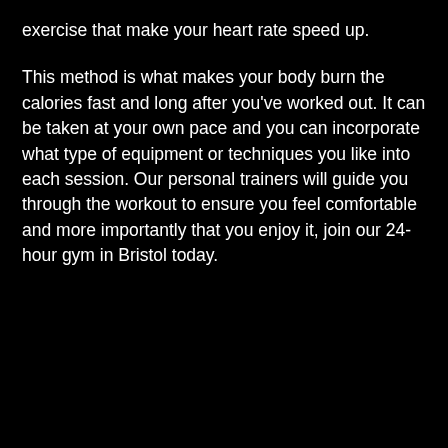exercise that make your heart rate speed up.
This method is what makes your body burn the calories fast and long after you've worked out. It can be taken at your own pace and you can incorporate what type of equipment or techniques you like into each session. Our personal trainers will guide you through the workout to ensure you feel comfortable and more importantly that you enjoy it, join our 24-hour gym in Bristol today.